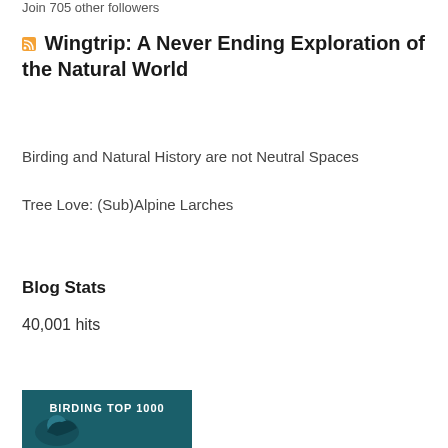Join 705 other followers
Wingtrip: A Never Ending Exploration of the Natural World
Birding and Natural History are not Neutral Spaces
Tree Love: (Sub)Alpine Larches
Blog Stats
40,001 hits
[Figure (illustration): Birding Top 1000 badge/widget showing a bird silhouette on a dark teal background with the text BIRDING TOP 1000]